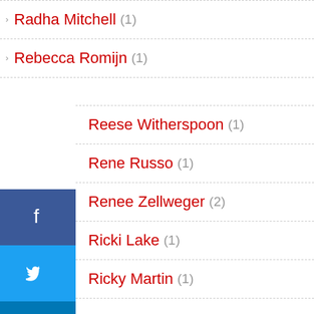Radha Mitchell (1)
Rebecca Romijn (1)
Reese Witherspoon (1)
Rene Russo (1)
Renee Zellweger (2)
Ricki Lake (1)
Ricky Martin (1)
Rihanna (2)
Robert Downey Jr (1)